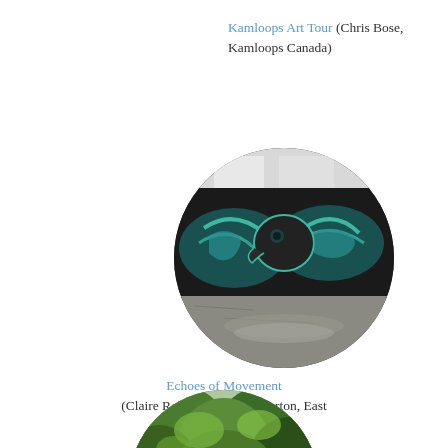Kamloops Art Tour (Chris Bose, Kamloops Canada)
[Figure (photo): Circular cropped photo of a large street mural on a dark building wall, featuring a large bird/raven with teal and green feathers and decorative elements, photographed from street level with a parking lot in the foreground.]
Echoes of Movement (Claire Roberts and John Burton, East Vancouver Canada)
[Figure (photo): Circular cropped photo showing green trees and lush vegetation, partially visible at the bottom of the page.]